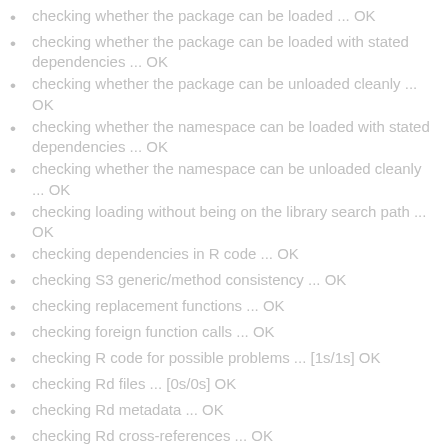checking whether the package can be loaded ... OK
checking whether the package can be loaded with stated dependencies ... OK
checking whether the package can be unloaded cleanly ... OK
checking whether the namespace can be loaded with stated dependencies ... OK
checking whether the namespace can be unloaded cleanly ... OK
checking loading without being on the library search path ... OK
checking dependencies in R code ... OK
checking S3 generic/method consistency ... OK
checking replacement functions ... OK
checking foreign function calls ... OK
checking R code for possible problems ... [1s/1s] OK
checking Rd files ... [0s/0s] OK
checking Rd metadata ... OK
checking Rd cross-references ... OK
checking for missing documentation entries ... OK
checking for code/documentation mismatches ... OK
checking Rd \usage sections ... OK
checking Rd contents ... OK
checking for unstated dependencies in examples ... OK
checking LazyData ... NOTE